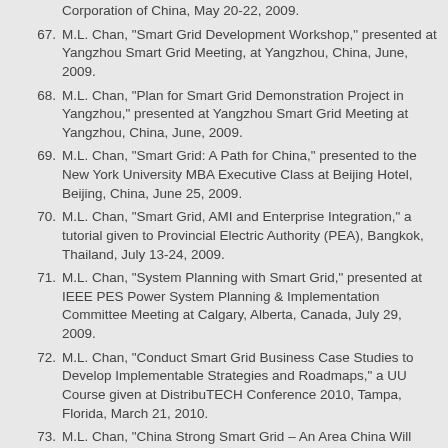Corporation of China, May 20-22, 2009.
67. M.L. Chan, "Smart Grid Development Workshop," presented at Yangzhou Smart Grid Meeting, at Yangzhou, China, June, 2009.
68. M.L. Chan, "Plan for Smart Grid Demonstration Project in Yangzhou," presented at Yangzhou Smart Grid Meeting at Yangzhou, China, June, 2009.
69. M.L. Chan, "Smart Grid: A Path for China," presented to the New York University MBA Executive Class at Beijing Hotel, Beijing, China, June 25, 2009.
70. M.L. Chan, "Smart Grid, AMI and Enterprise Integration," a tutorial given to Provincial Electric Authority (PEA), Bangkok, Thailand, July 13-24, 2009.
71. M.L. Chan, "System Planning with Smart Grid," presented at IEEE PES Power System Planning & Implementation Committee Meeting at Calgary, Alberta, Canada, July 29, 2009.
72. M.L. Chan, "Conduct Smart Grid Business Case Studies to Develop Implementable Strategies and Roadmaps," a UU Course given at DistribuTECH Conference 2010, Tampa, Florida, March 21, 2010.
73. M.L. Chan, "China Strong Smart Grid – An Area China Will Excel," a paper presented at Harvard China Review